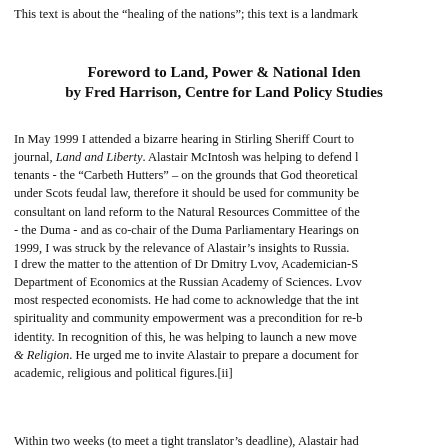This text is about the “healing of the nations”; this text is a landmark
Foreword to Land, Power & National Iden
by Fred Harrison, Centre for Land Policy Studies
In May 1999 I attended a bizarre hearing in Stirling Sheriff Court to journal, Land and Liberty. Alastair McIntosh was helping to defend l tenants - the “Carbeth Hutters” – on the grounds that God theoretical under Scots feudal law, therefore it should be used for community be consultant on land reform to the Natural Resources Committee of the - the Duma - and as co-chair of the Duma Parliamentary Hearings on 1999, I was struck by the relevance of Alastair’s insights to Russia.
I drew the matter to the attention of Dr Dmitry Lvov, Academician-S Department of Economics at the Russian Academy of Sciences. Lvov most respected economists. He had come to acknowledge that the int spirituality and community empowerment was a precondition for re-b identity. In recognition of this, he was helping to launch a new move & Religion. He urged me to invite Alastair to prepare a document for academic, religious and political figures.[ii]
Within two weeks (to meet a tight translator’s deadline), Alastair had